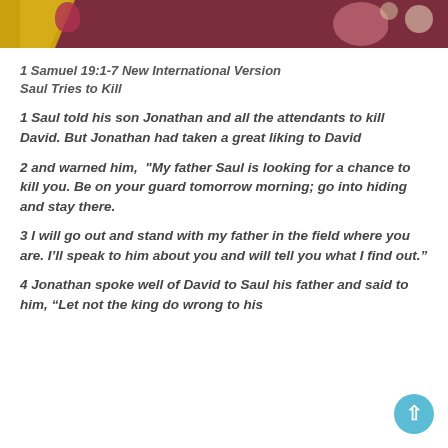[Figure (illustration): Decorative floral banner with yellow, dark red/maroon, pink and cream colors]
1 Samuel 19:1-7 New International Version
Saul Tries to Kill
1 Saul told his son Jonathan and all the attendants to kill David. But Jonathan had taken a great liking to David
2 and warned him, “My father Saul is looking for a chance to kill you. Be on your guard tomorrow morning; go into hiding and stay there.
3 I will go out and stand with my father in the field where you are. I’ll speak to him about you and will tell you what I find out.”
4 Jonathan spoke well of David to Saul his father and said to him, “Let not the king do wrong to his